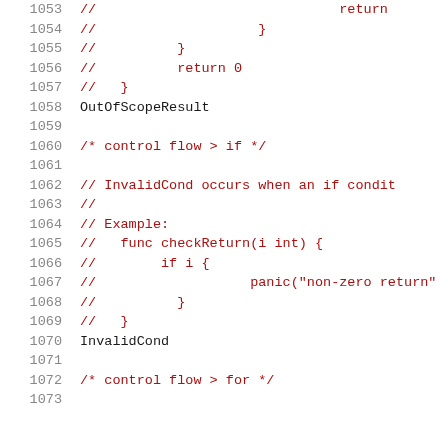1053  //                              return
1054  //                    }
1055  //          }
1056  //          return 0
1057  //   }
1058  OutOfScopeResult
1059  
1060  /* control flow > if */
1061  
1062  // InvalidCond occurs when an if condit
1063  //
1064  // Example:
1065  //   func checkReturn(i int) {
1066  //        if i {
1067  //                   panic("non-zero return"
1068  //          }
1069  //   }
1070  InvalidCond
1071  
1072  /* control flow > for */
1073